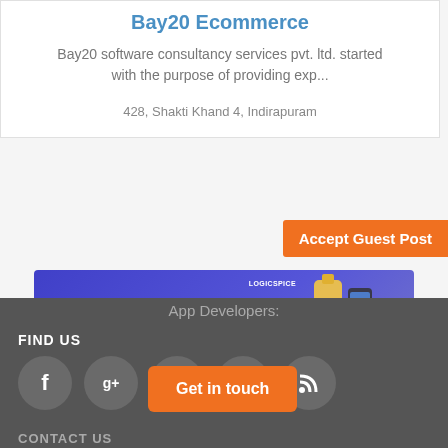Bay20 Ecommerce
Bay20 software consultancy services pvt. ltd. started with the purpose of providing exp...
428, Shakti Khand 4, Indirapuram
Accept Guest Post
[Figure (screenshot): Ad banner for LogicSpice with purple/blue gradient background, text 'Develop High' and product images on right, LogicSpice logo visible]
App Developers:
FIND US
[Figure (infographic): Five social media icon circles (Facebook, Google+, LinkedIn, Twitter, RSS) in dark gray on dark gray footer background, with orange 'Get in touch' button overlapping them]
Get in touch
CONTACT US